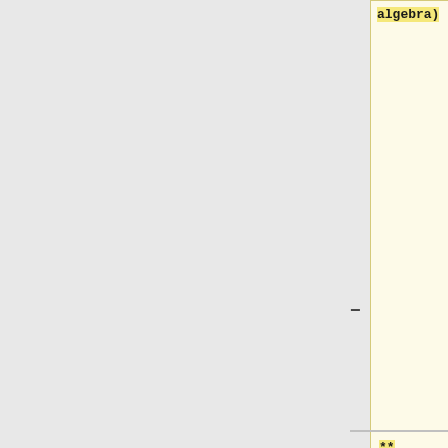algebra)
Ubuntu packages die geïnstalleerd zijn, is te zien met het commando:][A complete list of the thousands of installed Ubuntu packages can be seen with the command:]
** [[software_matlab_|Matlab]]
<pre>